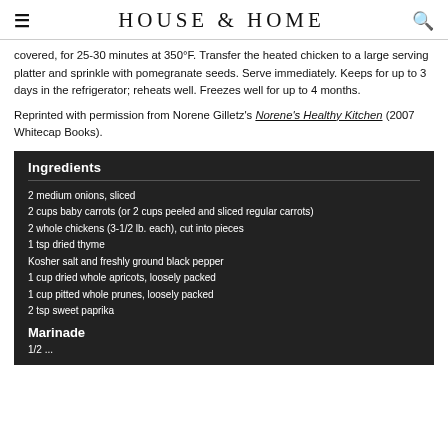HOUSE & HOME
covered, for 25-30 minutes at 350°F. Transfer the heated chicken to a large serving platter and sprinkle with pomegranate seeds. Serve immediately. Keeps for up to 3 days in the refrigerator; reheats well. Freezes well for up to 4 months.
Reprinted with permission from Norene Gilletz's Norene's Healthy Kitchen (2007 Whitecap Books).
Ingredients
2 medium onions, sliced
2 cups baby carrots (or 2 cups peeled and sliced regular carrots)
2 whole chickens (3-1/2 lb. each), cut into pieces
1 tsp dried thyme
Kosher salt and freshly ground black pepper
1 cup dried whole apricots, loosely packed
1 cup pitted whole prunes, loosely packed
2 tsp sweet paprika
Marinade
1/2 ...